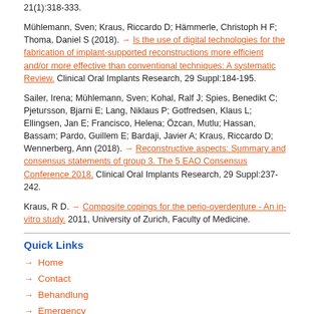21(1):318-333.
Mühlemann, Sven; Kraus, Riccardo D; Hämmerle, Christoph H F; Thoma, Daniel S (2018). → Is the use of digital technologies for the fabrication of implant-supported reconstructions more efficient and/or more effective than conventional techniques: A systematic Review. Clinical Oral Implants Research, 29 Suppl:184-195.
Sailer, Irena; Mühlemann, Sven; Kohal, Ralf J; Spies, Benedikt C; Pjetursson, Bjarni E; Lang, Niklaus P; Gotfredsen, Klaus L; Ellingsen, Jan E; Francisco, Helena; Özcan, Mutlu; Hassan, Bassam; Pardo, Guillem E; Bardaji, Javier A; Kraus, Riccardo D; Wennerberg, Ann (2018). → Reconstructive aspects: Summary and consensus statements of group 3. The 5 EAO Consensus Conference 2018. Clinical Oral Implants Research, 29 Suppl:237-242.
Kraus, R D. → Composite copings for the perio-overdenture - An in-vitro study. 2011, University of Zurich, Faculty of Medicine.
Quick Links
→ Home
→ Contact
→ Behandlung
→ Emergency
→ Überweisungen